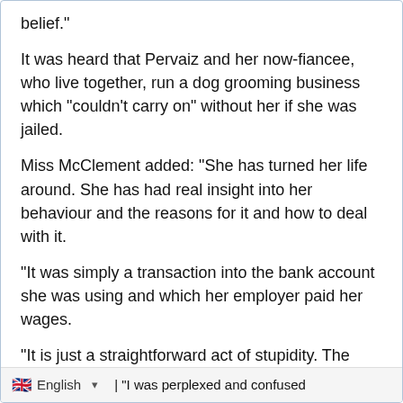belief."
It was heard that Pervaiz and her now-fiancee, who live together, run a dog grooming business which "couldn't carry on" without her if she was jailed.
Miss McClement added: "She has turned her life around. She has had real insight into her behaviour and the reasons for it and how to deal with it.
"It was simply a transaction into the bank account she was using and which her employer paid her wages.
"It is just a straightforward act of stupidity. The offending was far from sophisticated."
Pervaiz pleaded guilty to theft by employee and was sentenced to a further 18-month sentence, suspended for 24 months.
English | "I was perplexed and confused